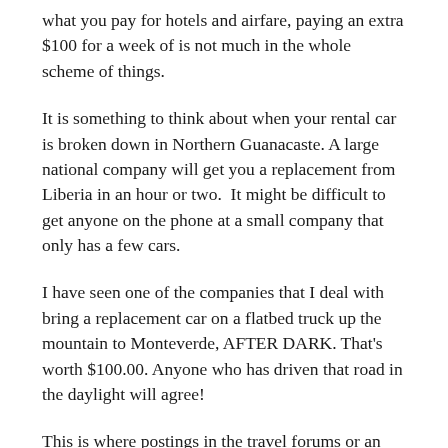what you pay for hotels and airfare, paying an extra $100 for a week of is not much in the whole scheme of things.
It is something to think about when your rental car is broken down in Northern Guanacaste. A large national company will get you a replacement from Liberia in an hour or two.  It might be difficult to get anyone on the phone at a small company that only has a few cars.
I have seen one of the companies that I deal with bring a replacement car on a flatbed truck up the mountain to Monteverde, AFTER DARK. That's worth $100.00. Anyone who has driven that road in the daylight will agree!
This is where postings in the travel forums or an experienced Costa Rica travel agent is important...